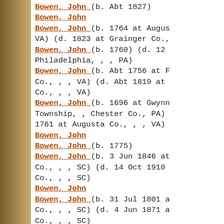Bowen, John (b. Abt 1827)
Bowen, John
Bowen, John (b. 1764 at Augusta, VA) (d. 1823 at Grainger Co.,
Bowen, John (b. 1760) (d. 12 at Philadelphia, , , PA)
Bowen, John (b. Abt 1756 at F Co., , , VA) (d. Abt 1819 at Co., , , VA)
Bowen, John (b. 1696 at Gwynne Township, , Chester Co., PA) 1761 at Augusta Co., , , VA)
Bowen, John
Bowen, John (b. 1775)
Bowen, John (b. 3 Jun 1846 at Co., , , SC) (d. 14 Oct 1910 Co., , , SC)
Bowen, John
Bowen, John (b. 31 Jul 1801 a Co., , , SC) (d. 4 Jun 1871 a Co., , , SC)